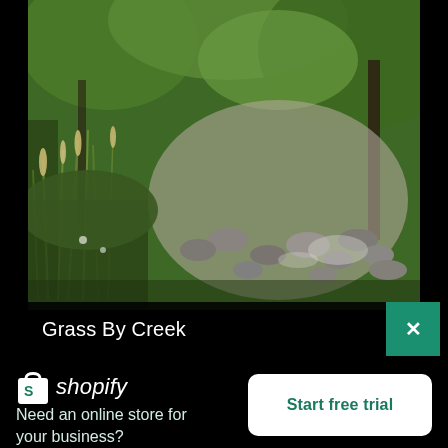[Figure (photo): Nature photo of grass and rocky creek with lush green trees in background, blurred/bokeh style]
Grass By Creek
[Figure (logo): Shopify logo: shopping bag icon with 'S' and italic 'shopify' wordmark in white on teal background]
Need an online store for your business?
Start free trial